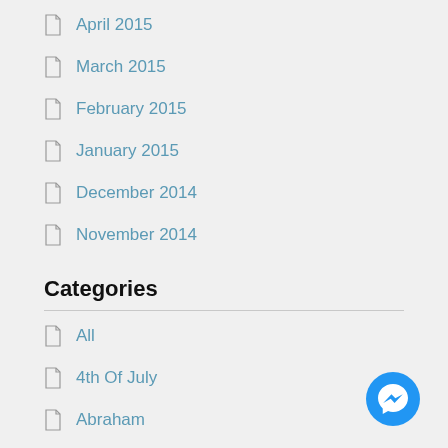April 2015
March 2015
February 2015
January 2015
December 2014
November 2014
Categories
All
4th Of July
Abraham
Addiction
Alcohol
Angels
Anger
[Figure (illustration): Facebook Messenger chat button in bottom right corner]